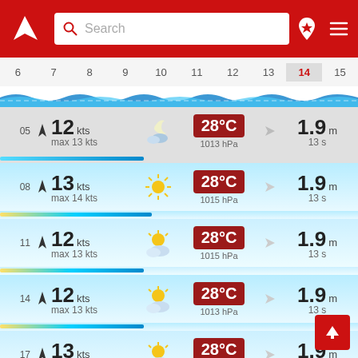[Figure (screenshot): App header with red background, Windy logo, search bar, location pin icon and hamburger menu]
[Figure (infographic): Day strip showing dates 6-15 with 14 highlighted in red]
[Figure (infographic): Wave strip with animated water graphic]
| Time | Wind | Icon | Temp/Pressure | Wave/Period |
| --- | --- | --- | --- | --- |
| 05 | 12 kts / max 13 kts | night-cloudy | 28°C / 1013 hPa | 1.9 m / 13 s |
| 08 | 13 kts / max 14 kts | sunny | 28°C / 1015 hPa | 1.9 m / 13 s |
| 11 | 12 kts / max 13 kts | partly-cloudy | 28°C / 1015 hPa | 1.9 m / 13 s |
| 14 | 12 kts / max 13 kts | partly-cloudy | 28°C / 1013 hPa | 1.9 m / 13 s |
| 17 | 13 kts / max 14 kts | partly-cloudy | 28°C / 1013 hPa | 1.9 m / 12 s |